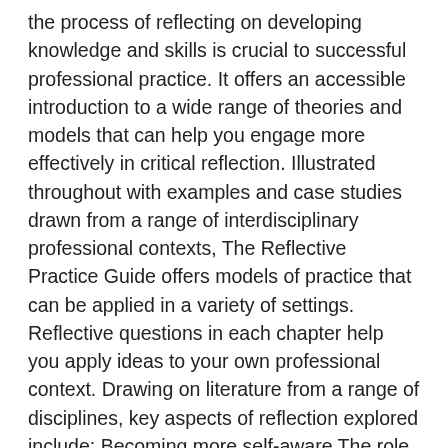the process of reflecting on developing knowledge and skills is crucial to successful professional practice. It offers an accessible introduction to a wide range of theories and models that can help you engage more effectively in critical reflection. Illustrated throughout with examples and case studies drawn from a range of interdisciplinary professional contexts, The Reflective Practice Guide offers models of practice that can be applied in a variety of settings. Reflective questions in each chapter help you apply ideas to your own professional context. Drawing on literature from a range of disciplines, key aspects of reflection explored include: Becoming more self-aware The role of writing in reflection Learning from experience Learning from positives and negatives Emotions and processing feelings Bringing assumptions to the surface Learning from feedback Reflecting in groups Managing change. The Reflective Practice Guide is an essential source of support, guidance